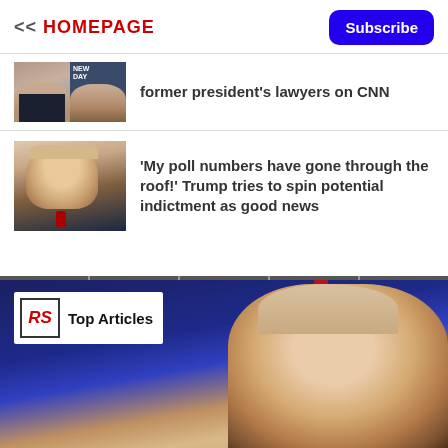<< HOMEPAGE | Subscribe
[Figure (photo): Thumbnail image showing two people on CNN's New Day program]
former president's lawyers on CNN
[Figure (photo): Photo of Donald Trump with red tie against blue/gray background]
'My poll numbers have gone through the roof!' Trump tries to spin potential indictment as good news
[Figure (photo): Large cropped photo of Donald Trump's face against a blue background with RS Top Articles badge overlay]